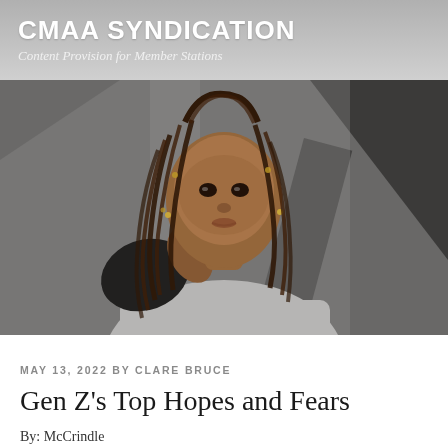CMAA SYNDICATION
Content Provision for Member Stations
[Figure (photo): Portrait photo of a young Black woman with long box braids, wearing a grey hoodie and dark jacket, looking directly at camera with a serious expression, urban background with geometric shapes]
MAY 13, 2022 BY CLARE BRUCE
Gen Z's Top Hopes and Fears
By: McCrindle